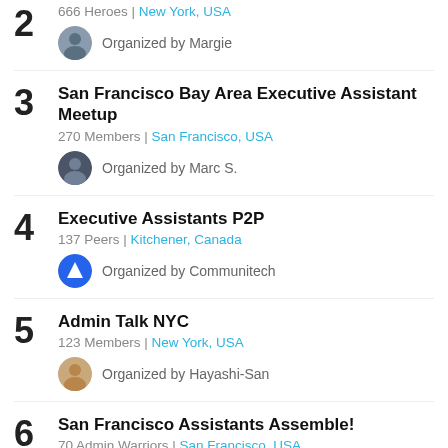2 — 666 Heroes | New York, USA — Organized by Margie
3 — San Francisco Bay Area Executive Assistant Meetup — 270 Members | San Francisco, USA — Organized by Marc S.
4 — Executive Assistants P2P — 137 Peers | Kitchener, Canada — Organized by Communitech
5 — Admin Talk NYC — 123 Members | New York, USA — Organized by Hayashi-San
6 — San Francisco Assistants Assemble! — 70 Admin Warriors | San Francisco, USA — Organized by Lixie